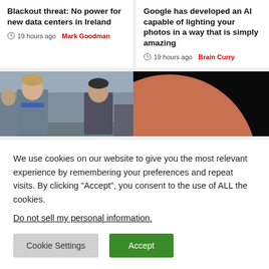Blackout threat: No power for new data centers in Ireland
19 hours ago Mark Goodman
Google has developed an AI capable of lighting your photos in a way that is simply amazing
19 hours ago Brain Curry
[Figure (photo): Two men facing each other in a confrontation scene, appears to be from a film or TV show, interior setting]
[Figure (photo): Dark background with a large orange/terracotta circle partially visible, appears to be an eclipse or abstract image]
We use cookies on our website to give you the most relevant experience by remembering your preferences and repeat visits. By clicking “Accept”, you consent to the use of ALL the cookies.
Do not sell my personal information.